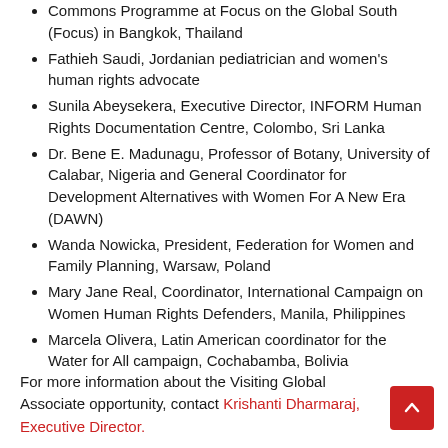Commons Programme at Focus on the Global South (Focus) in Bangkok, Thailand
Fathieh Saudi, Jordanian pediatrician and women's human rights advocate
Sunila Abeysekera, Executive Director, INFORM Human Rights Documentation Centre, Colombo, Sri Lanka
Dr. Bene E. Madunagu, Professor of Botany, University of Calabar, Nigeria and General Coordinator for Development Alternatives with Women For A New Era (DAWN)
Wanda Nowicka, President, Federation for Women and Family Planning, Warsaw, Poland
Mary Jane Real, Coordinator, International Campaign on Women Human Rights Defenders, Manila, Philippines
Marcela Olivera, Latin American coordinator for the Water for All campaign, Cochabamba, Bolivia
For more information about the Visiting Global Associate opportunity, contact Krishanti Dharmaraj, Executive Director.